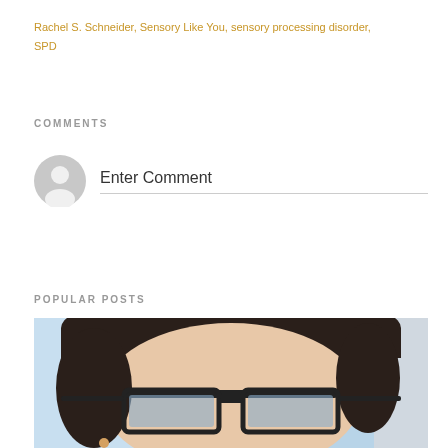Rachel S. Schneider, Sensory Like You, sensory processing disorder, SPD
COMMENTS
[Figure (other): Comment input area with default user avatar circle and placeholder text 'Enter Comment' with underline]
POPULAR POSTS
[Figure (photo): Close-up photo of a woman with dark hair wearing black-framed glasses with blue-tinted lenses, light blue background]